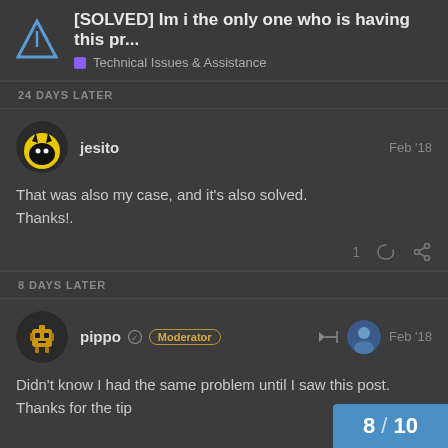[SOLVED] Im i the only one who is having this pr... | Technical Issues & Assistance
24 DAYS LATER
jesito | Feb '18
That was also my case, and it's also solved. Thanks!.
8 DAYS LATER
pippo Moderator | Feb '18
Didn't know I had the same problem until I saw this post. Thanks for the tip
8 / 10